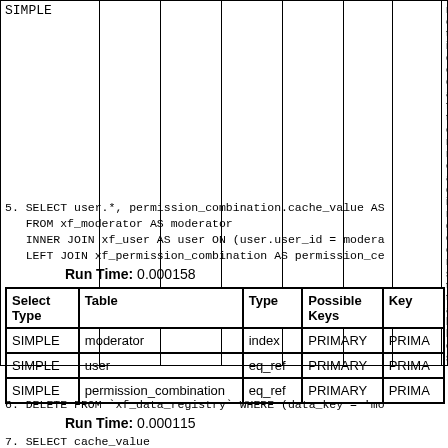| Select Type |  |  |  |  |  |  |  |
| --- | --- | --- | --- | --- | --- | --- | --- |
| SIMPLE |  |  |  |  |  |  | noticed after reading const tables |
5. SELECT user.*, permission_combination.cache_value AS
   FROM xf_moderator AS moderator
   INNER JOIN xf_user AS user ON (user.user_id = modera
   LEFT JOIN xf_permission_combination AS permission_ce
Run Time: 0.000158
| Select Type | Table | Type | Possible Keys | Key |
| --- | --- | --- | --- | --- |
| SIMPLE | moderator | index | PRIMARY | PRIMA |
| SIMPLE | user | eq_ref | PRIMARY | PRIMA |
| SIMPLE | permission_combination | eq_ref | PRIMARY | PRIMA |
6. DELETE FROM `xf_data_registry` WHERE (data_key = 'mo
Run Time: 0.000115
7. SELECT cache_value
   FROM xf_permission_combination
   WHERE permission_combination_id = ?